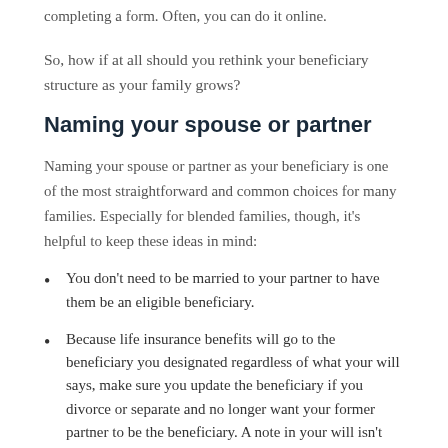completing a form. Often, you can do it online.
So, how if at all should you rethink your beneficiary structure as your family grows?
Naming your spouse or partner
Naming your spouse or partner as your beneficiary is one of the most straightforward and common choices for many families. Especially for blended families, though, it's helpful to keep these ideas in mind:
You don't need to be married to your partner to have them be an eligible beneficiary.
Because life insurance benefits will go to the beneficiary you designated regardless of what your will says, make sure you update the beneficiary if you divorce or separate and no longer want your former partner to be the beneficiary. A note in your will isn't enough to make that update.
You can name both your current and former spouses as beneficiaries, which can be helpful if you are raising children with